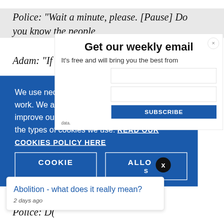Police: "Wait a minute, please. [Pause] Do you know the people
Adam: "If
[Figure (screenshot): Email newsletter signup popup with title 'Get our weekly email' and close button (×). Contains subtitle 'It’s free and will bring you the best from', two text input boxes, a Subscribe button, and a data privacy note.]
[Figure (screenshot): Cookie consent banner with blue background. Text: 'We use necessary cookies that allow our site to work. We also set optional cookies that help us improve our website. For more information about the types of cookies we use. READ OUR COOKIES POLICY HERE'. Two buttons: 'COOKIE' and 'ALLOW'.]
[Figure (screenshot): Tooltip/popup card: 'Abolition - what does it really mean?' with '2 days ago' timestamp. Blue link text on white background with rounded corner box.]
Police: D(